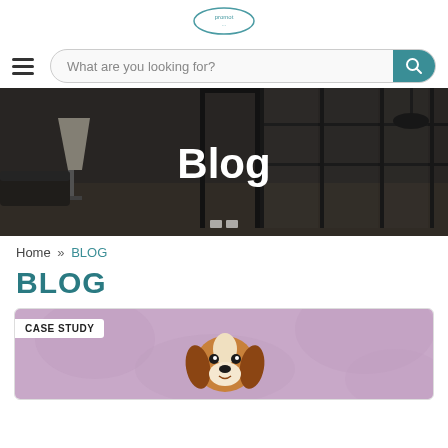promo logo (circular badge)
What are you looking for?
[Figure (photo): Hero banner showing a modern office interior with glass partition walls, a floor lamp, dark ceiling, and moody lighting. The word 'Blog' appears in large white bold text centered over the image.]
Blog
Home » BLOG
BLOG
[Figure (photo): Card thumbnail showing a Cavalier King Charles Spaniel puppy on a lavender/purple fabric background, with a 'CASE STUDY' badge overlay in the top left.]